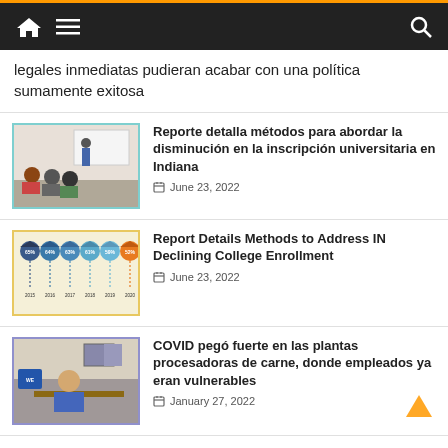Navigation bar with home, menu, and search icons
legales inmediatas pudieran acabar con una política sumamente exitosa
[Figure (photo): Classroom scene with instructor presenting to seated students]
Reporte detalla métodos para abordar la disminución en la inscripción universitaria en Indiana
June 23, 2022
[Figure (infographic): Infographic showing declining college enrollment statistics from 2015 to 2020 with graduation cap icons]
Report Details Methods to Address IN Declining College Enrollment
June 23, 2022
[Figure (photo): Person sitting at desk in office setting]
COVID pegó fuerte en las plantas procesadoras de carne, donde empleados ya eran vulnerables
January 27, 2022